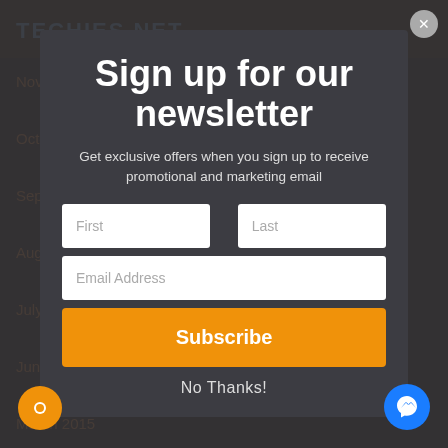TECHIES NET
November 2015
October 2015
September 2015
August 2015
July 2015
June 2015
March 2015
January 2015
December 2014
November 2014
Sign up for our newsletter
Get exclusive offers when you sign up to receive promotional and marketing email
First
Last
Email Address
Subscribe
No Thanks!